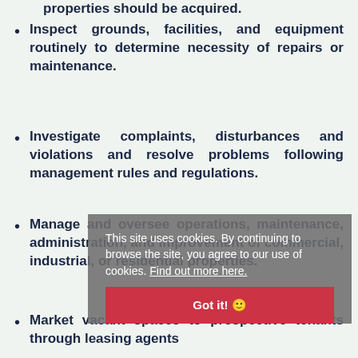properties should be acquired.
Inspect grounds, facilities, and equipment routinely to determine necessity of repairs or maintenance.
Investigate complaints, disturbances and violations and resolve problems following management rules and regulations.
Manage and oversee operations, maintenance, administration, and improvement of commercial, industrial, or residential properties.
Market vacant spaces to prospective tenants through leasing agents